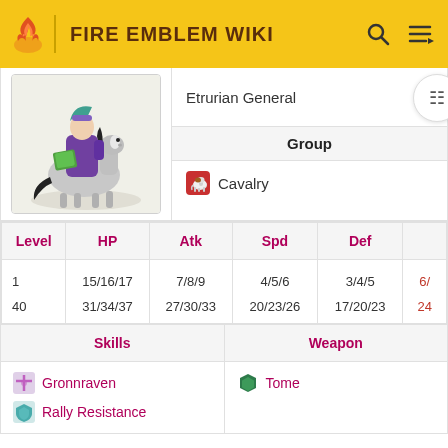FIRE EMBLEM WIKI
[Figure (illustration): Character illustration of a mounted unit (Etrurian General on horseback with green teal hair and purple armor) from Fire Emblem Heroes]
Etrurian General
| Group |
| --- |
| Cavalry |
| Level | HP | Atk | Spd | Def |  |
| --- | --- | --- | --- | --- | --- |
| 1 | 15/16/17 | 7/8/9 | 4/5/6 | 3/4/5 | 6/ |
| 40 | 31/34/37 | 27/30/33 | 20/23/26 | 17/20/23 | 24 |
| Skills | Weapon |
| --- | --- |
| Gronnraven
Rally Resistance | Tome |
★★★★★